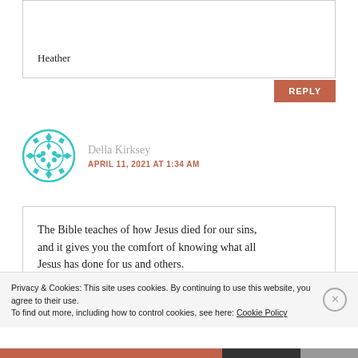Heather
REPLY
Della Kirksey
APRIL 11, 2021 AT 1:34 AM
The Bible teaches of how Jesus died for our sins, and it gives you the comfort of knowing what all Jesus has done for us and others.
Privacy & Cookies: This site uses cookies. By continuing to use this website, you agree to their use. To find out more, including how to control cookies, see here: Cookie Policy
Close and accept